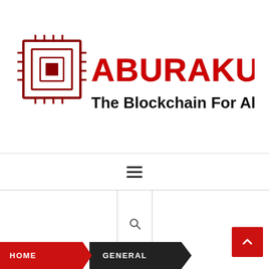[Figure (logo): ABURAKUSASU logo: red circuit-board chip icon on the left, large red bold distressed text 'ABURAKUSASU', and below in black bold text 'The Blockchain For All Ages']
[Figure (other): Hamburger menu icon: three horizontal black lines]
[Figure (other): Search magnifier icon in a bordered box]
[Figure (other): Red back-to-top button with upward chevron arrow]
HOME
GENERAL